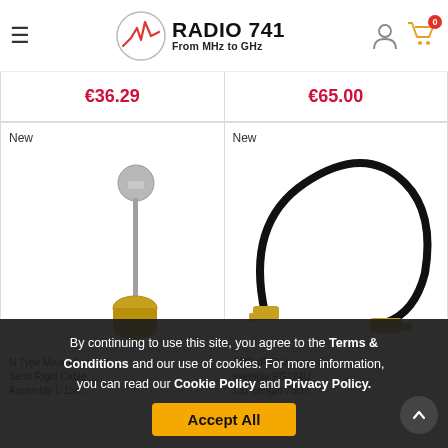[Figure (logo): Radio 741 logo with circular antenna graph icon and text 'RADIO 741 From MHz to GHz']
€36.29
€65.00
[Figure (photo): New product: N Type Male - Female Semi Rigid Cable Assembly L:15cm]
[Figure (photo): New product: SMB (F-F) Jumper Cable Assembly RG174U 131 Length 75cm]
N Type Male - Female Semi Rigid Cable Assembly L:15c...
SMB (F-F) Jumper Cable Assembly RG174U 131 Length 75cm
By continuing to use this site, you agree to the Terms & Conditions and our use of cookies. For more information, you can read our Cookie Policy and Privacy Policy.